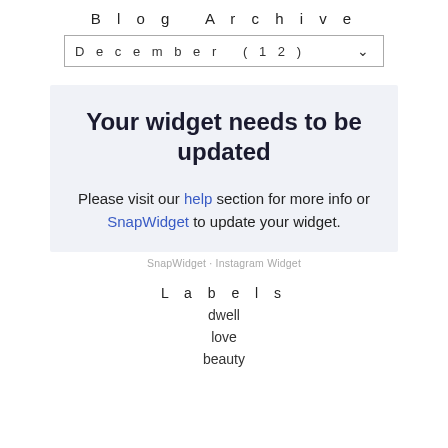Blog Archive
December (12)
[Figure (other): Widget notification box with bold heading 'Your widget needs to be updated' and body text 'Please visit our help section for more info or SnapWidget to update your widget.' with links 'help' and 'SnapWidget' in blue.]
SnapWidget · Instagram Widget
Labels
dwell
love
beauty